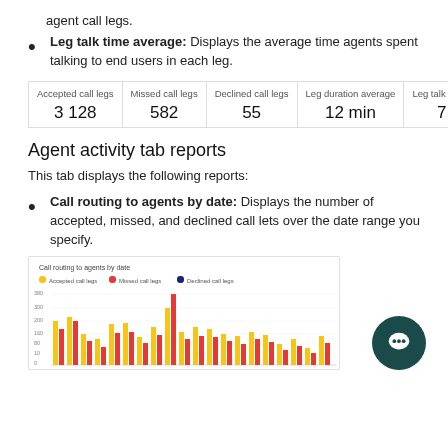agent call legs.
Leg talk time average: Displays the average time agents spent talking to end users in each leg.
| Accepted call legs | Missed call legs | Declined call legs | Leg duration average | Leg talk time average |
| --- | --- | --- | --- | --- |
| 3 128 | 582 | 55 | 12 min | 7 min |
Agent activity tab reports
This tab displays the following reports:
Call routing to agents by date: Displays the number of accepted, missed, and declined call lets over the date range you specify.
[Figure (grouped-bar-chart): Grouped bar chart showing accepted, missed, and declined call legs over a date range. Y-axis goes from 0 to 380.]